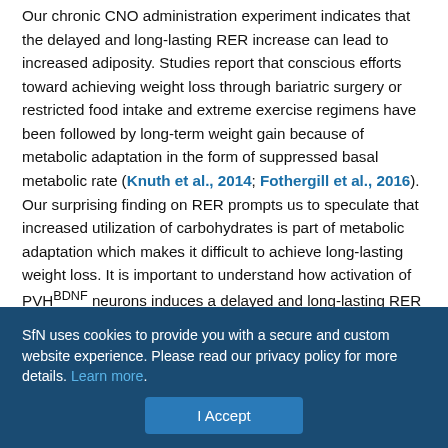Our chronic CNO administration experiment indicates that the delayed and long-lasting RER increase can lead to increased adiposity. Studies report that conscious efforts toward achieving weight loss through bariatric surgery or restricted food intake and extreme exercise regimens have been followed by long-term weight gain because of metabolic adaptation in the form of suppressed basal metabolic rate (Knuth et al., 2014; Fothergill et al., 2016). Our surprising finding on RER prompts us to speculate that increased utilization of carbohydrates is part of metabolic adaptation which makes it difficult to achieve long-lasting weight loss. It is important to understand how activation of PVH^BDNF neurons induces a delayed and long-lasting RER increase in female but not male mice in future studies.
SfN uses cookies to provide you with a secure and custom website experience. Please read our privacy policy for more details. Learn more